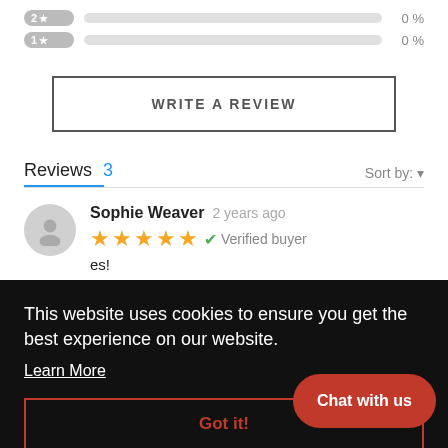[Figure (infographic): 2-star rating row: grey badge with '2★', grey filled bar, label '0 %']
[Figure (infographic): 1-star rating row: grey badge with '1★', grey filled bar, label '0 %']
WRITE A REVIEW
Reviews 3
Sort by: ▾
Sophie Weaver  2 years ago
[Figure (infographic): 5 orange stars rating]
✔ Verified buyer
es!
This website uses cookies to ensure you get the best experience on our website.
Learn More
Got it!
Chat with us